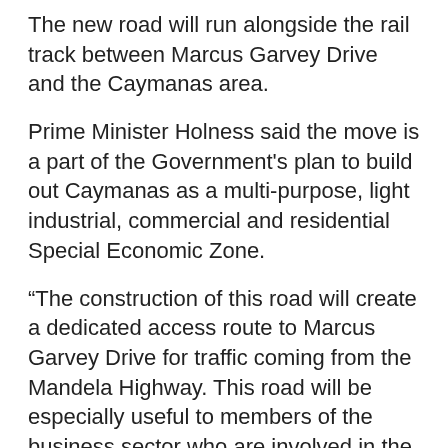The new road will run alongside the rail track between Marcus Garvey Drive and the Caymanas area.
Prime Minister Holness said the move is a part of the Government's plan to build out Caymanas as a multi-purpose, light industrial, commercial and residential Special Economic Zone.
“The construction of this road will create a dedicated access route to Marcus Garvey Drive for traffic coming from the Mandela Highway. This road will be especially useful to members of the business sector who are involved in the movement of containers,” said Prime Minister Holness.
The new road will be1.4km with a two (2) lane link road from Chesterfield Drive to Marcus Garvey Drive. This will be eight (8) metres wide.
During the media briefing, the Prime Minister signed the contract agreement with China Harbour Engineering Company (CHEC) for the construction of the new road valued at one million United States